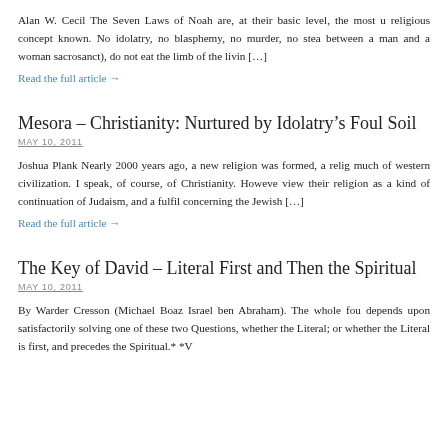Alan W. Cecil The Seven Laws of Noah are, at their basic level, the most u religious concept known. No idolatry, no blasphemy, no murder, no stea between a man and a woman sacrosanct), do not eat the limb of the livin [...]
Read the full article →
Mesora – Christianity: Nurtured by Idolatry's Foul Soil
MAY 10, 2011
Joshua Plank Nearly 2000 years ago, a new religion was formed, a relig much of western civilization. I speak, of course, of Christianity. Howeve view their religion as a kind of continuation of Judaism, and a fulfil concerning the Jewish [...]
Read the full article →
The Key of David – Literal First and Then the Spiritual
MAY 10, 2011
By Warder Cresson (Michael Boaz Israel ben Abraham). The whole fou depends upon satisfactorily solving one of these two Questions, whether the Literal; or whether the Literal is first, and precedes the Spiritual.* *V